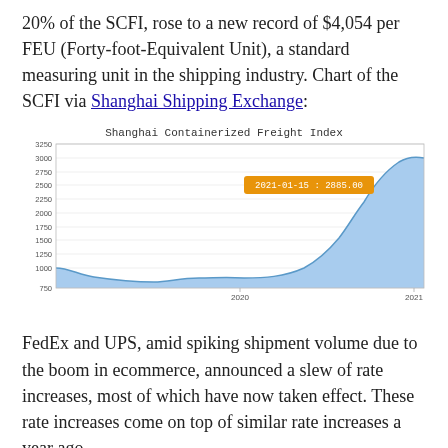20% of the SCFI, rose to a new record of $4,054 per FEU (Forty-foot-Equivalent Unit), a standard measuring unit in the shipping industry. Chart of the SCFI via Shanghai Shipping Exchange:
[Figure (continuous-plot): Area chart showing the Shanghai Containerized Freight Index over time from roughly 2019 to early 2021. The index hovered around 750-1000 through most of 2019-2020, then rose sharply in late 2020 and early 2021 reaching approximately 2800. A tooltip shows '2021-01-15 : 2885.00'.]
FedEx and UPS, amid spiking shipment volume due to the boom in ecommerce, announced a slew of rate increases, most of which have now taken effect. These rate increases come on top of similar rate increases a year ago.